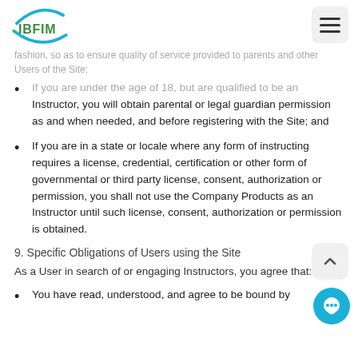IBFIM
if you are under the age of 18, but are qualified to be an Instructor, you will obtain parental or legal guardian permission as and when needed, and before registering with the Site; and
If you are in a state or locale where any form of instructing requires a license, credential, certification or other form of governmental or third party license, consent, authorization or permission, you shall not use the Company Products as an Instructor until such license, consent, authorization or permission is obtained.
9. Specific Obligations of Users using the Site
As a User in search of or engaging Instructors, you agree that:
You have read, understood, and agree to be bound by